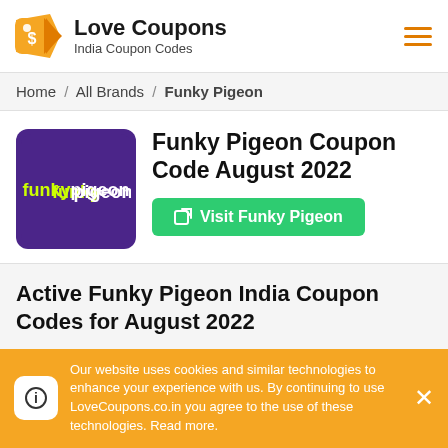Love Coupons — India Coupon Codes
Home / All Brands / Funky Pigeon
Funky Pigeon Coupon Code August 2022
Visit Funky Pigeon
Active Funky Pigeon India Coupon Codes for August 2022
Our website uses cookies and similar technologies to enhance your experience with us. By continuing to use LoveCoupons.co.in you agree to the use of these technologies. Read more.